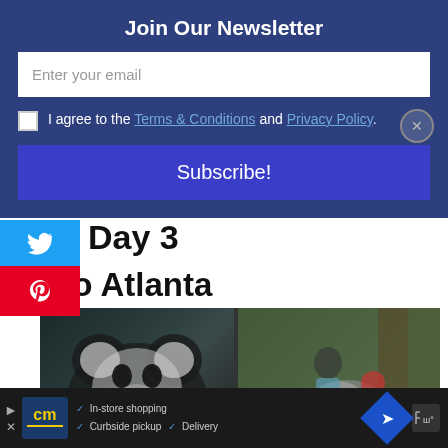Join Our Newsletter
Enter your email
I agree to the Terms & Conditions and Privacy Policy.
Subscribe!
Day 3
Zoo Atlanta
122 SHARES
[Figure (photo): Two photos side by side: left shows a giant panda in dark tones, right shows a girl and boy posing outdoors at Zoo Atlanta]
[Figure (infographic): Advertisement bar: cm logo, checkmarks for In-store shopping, Curbside pickup, Delivery, navigation diamond icon, weather icon]